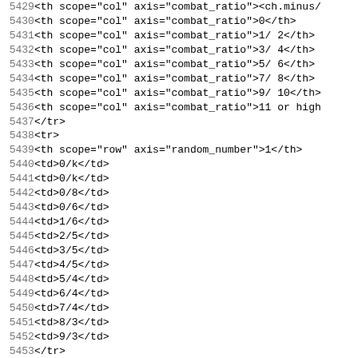Code listing lines 5429-5460 showing HTML table markup with th and td elements for combat_ratio axis columns and random_number axis rows.